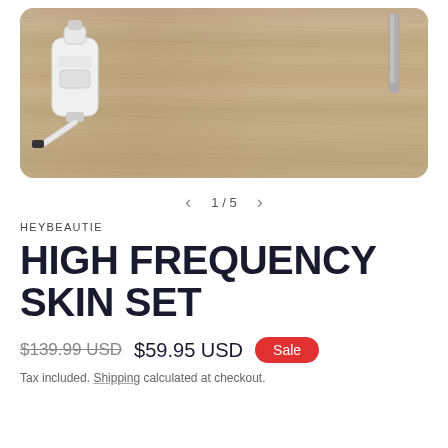[Figure (photo): Product photo of a high frequency skin device (white device with cable) and a gray metallic attachment, laid on a wooden surface background. Image shown in a rounded rectangle card.]
1 / 5
HEYBEAUTIE
HIGH FREQUENCY SKIN SET
$139.99 USD  $59.95 USD  Sale
Tax included. Shipping calculated at checkout.